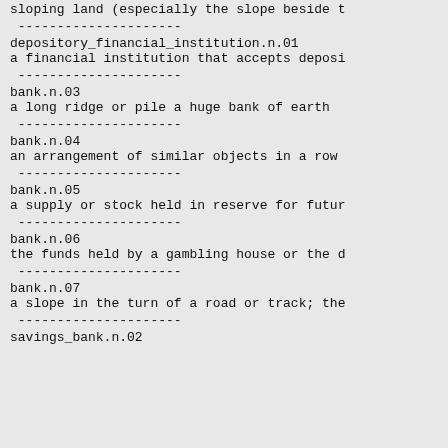sloping land (especially the slope beside t
---------------------
depository_financial_institution.n.01
a financial institution that accepts deposi
---------------------
bank.n.03
a long ridge or pile a huge bank of earth
---------------------
bank.n.04
an arrangement of similar objects in a row
---------------------
bank.n.05
a supply or stock held in reserve for futur
---------------------
bank.n.06
the funds held by a gambling house or the d
---------------------
bank.n.07
a slope in the turn of a road or track; the
---------------------
savings_bank.n.02